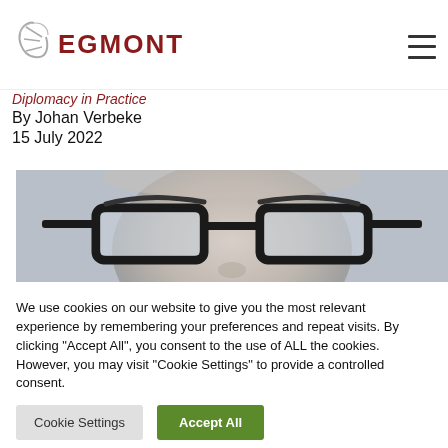EGMONT
Diplomacy in Practice
By Johan Verbeke
15 July 2022
[Figure (photo): Close-up black and white photo of a person wearing thick-rimmed glasses]
We use cookies on our website to give you the most relevant experience by remembering your preferences and repeat visits. By clicking "Accept All", you consent to the use of ALL the cookies. However, you may visit "Cookie Settings" to provide a controlled consent.
Cookie Settings   Accept All